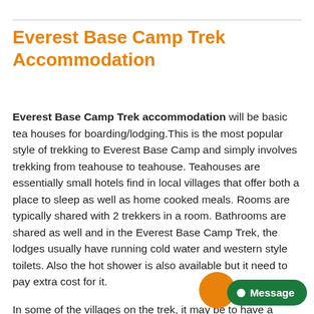Everest Base Camp Trek Accommodation
Everest Base Camp Trek accommodation will be basic tea houses for boarding/lodging.This is the most popular style of trekking to Everest Base Camp and simply involves trekking from teahouse to teahouse. Teahouses are essentially small hotels find in local villages that offer both a place to sleep as well as home cooked meals. Rooms are typically shared with 2 trekkers in a room. Bathrooms are shared as well and in the Everest Base Camp Trek, the lodges usually have running cold water and western style toilets. Also the hot shower is also available but it need to pay extra cost for it.
In some of the villages on the trek, it may be to have a private room with an extra cost and we will